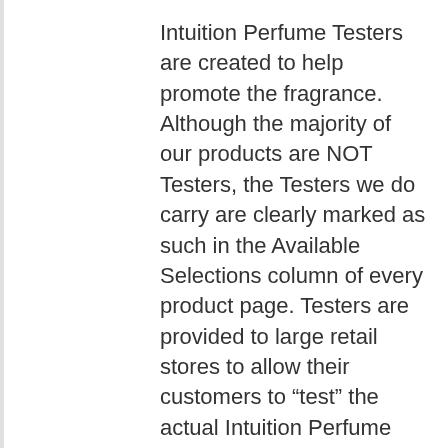Intuition Perfume Testers are created to help promote the fragrance. Although the majority of our products are NOT Testers, the Testers we do carry are clearly marked as such in the Available Selections column of every product page. Testers are provided to large retail stores to allow their customers to “test” the actual Intuition Perfume before buying it. It is the same Intuition Perfume that one finds in full size Intuition bottles. Testers may come in a variety sizes and forms of packaging. Some are offered in simple generic plain white or brown